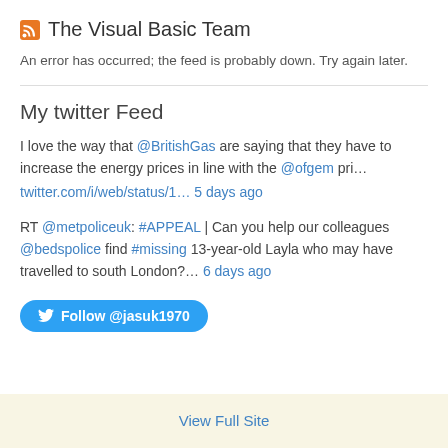The Visual Basic Team
An error has occurred; the feed is probably down. Try again later.
My twitter Feed
I love the way that @BritishGas are saying that they have to increase the energy prices in line with the @ofgem pri… twitter.com/i/web/status/1… 5 days ago
RT @metpoliceuk: #APPEAL | Can you help our colleagues @bedspolice find #missing 13-year-old Layla who may have travelled to south London?… 6 days ago
Follow @jasuk1970
View Full Site